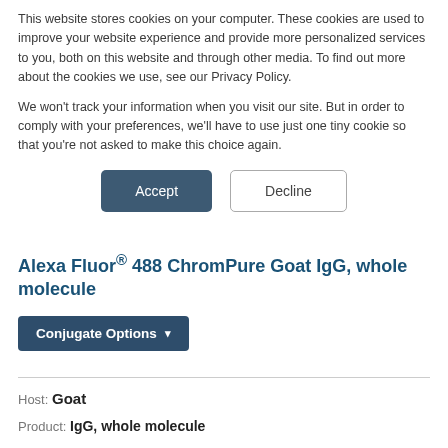This website stores cookies on your computer. These cookies are used to improve your website experience and provide more personalized services to you, both on this website and through other media. To find out more about the cookies we use, see our Privacy Policy.
We won't track your information when you visit our site. But in order to comply with your preferences, we'll have to use just one tiny cookie so that you're not asked to make this choice again.
Accept | Decline (buttons)
Alexa Fluor® 488 ChromPure Goat IgG, whole molecule
Conjugate Options ▾
Host: Goat
Product: IgG, whole molecule
Conjugate: Alexa Fluor® 488
Product Category: ChromPure™ Purified Proteins from Normal Serums